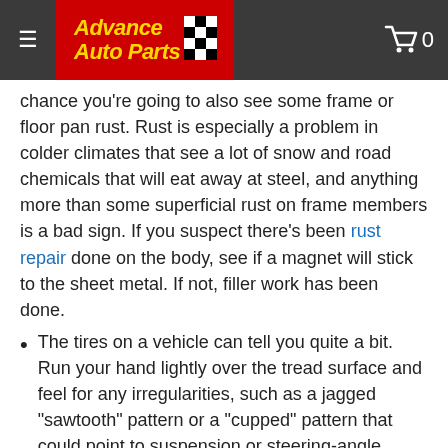Advance Auto Parts
chance you're going to also see some frame or floor pan rust. Rust is especially a problem in colder climates that see a lot of snow and road chemicals that will eat away at steel, and anything more than some superficial rust on frame members is a bad sign. If you suspect there's been rust repair done on the body, see if a magnet will stick to the sheet metal. If not, filler work has been done.
The tires on a vehicle can tell you quite a bit. Run your hand lightly over the tread surface and feel for any irregularities, such as a jagged "sawtooth" pattern or a "cupped" pattern that could point to suspension or steering-angle problems. Excessive wear at the inside or outside edge of the tire can